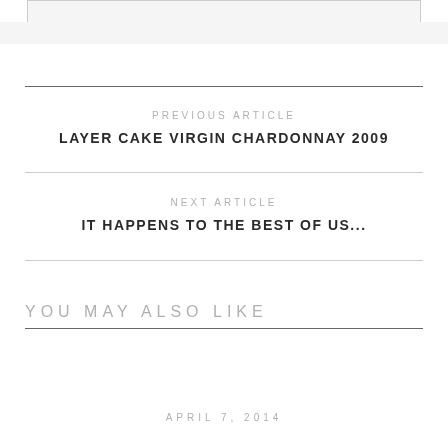PREVIOUS ARTICLE
LAYER CAKE VIRGIN CHARDONNAY 2009
NEXT ARTICLE
IT HAPPENS TO THE BEST OF US...
YOU MAY ALSO LIKE
APRIL 7, 2014